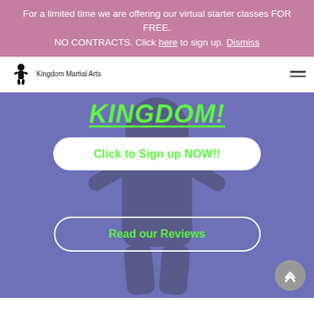For a limited time we are offering our virtual starter classes FOR FREE. NO CONTRACTS. Click here to sign up. Dismiss
[Figure (logo): Kingdom Martial Arts logo with silhouette of martial artist and cursive text]
KINGDOM!
Click to Sign up NOW!!
Read our Reviews
Frequently Asked Questions?